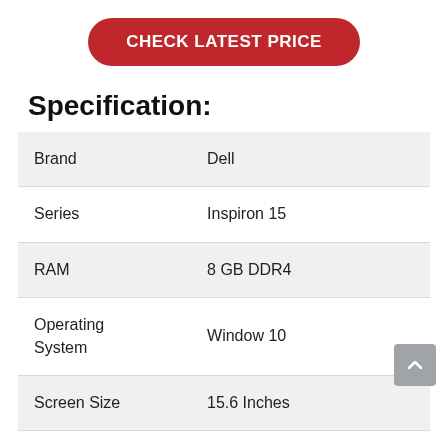[Figure (other): Red rounded button with text CHECK LATEST PRICE in white bold uppercase letters]
Specification:
|  |  |
| --- | --- |
| Brand | Dell |
| Series | Inspiron 15 |
| RAM | 8 GB DDR4 |
| Operating System | Window 10 |
| Screen Size | 15.6 Inches |
| Screen | 1920 x 1080 Pixels |